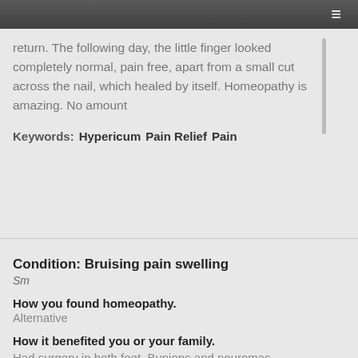return. The following day, the little finger looked completely normal, pain free, apart from a small cut across the nail, which healed by itself. Homeopathy is amazing. No amount
Keywords: Hypericum  Pain Relief  Pain
Condition: Bruising pain swelling
Sm
How you found homeopathy.
Alternative
How it benefited you or your family.
Had surgery in both feet. Bunions and neuromas